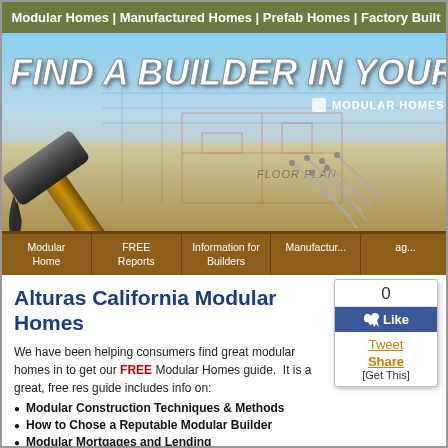Modular Homes | Manufactured Homes | Prefab Homes | Factory Built
[Figure (screenshot): Hero banner with hammer and nails on blueprint floor plan, text reading FIND A BUILDER IN YOUR AR... and MODULAR HOMES NETW...]
Modular Home | FREE Reports | Information for Builders | Manufactur... | ag...
Alturas California Modular Homes
We have been helping consumers find great modular homes in... to get our FREE Modular Homes guide. It is a great, free res... guide includes info on:
Modular Construction Techniques & Methods
How to Chose a Reputable Modular Builder
Modular Mortgages and Lending
Modular Builder Reviews and research.